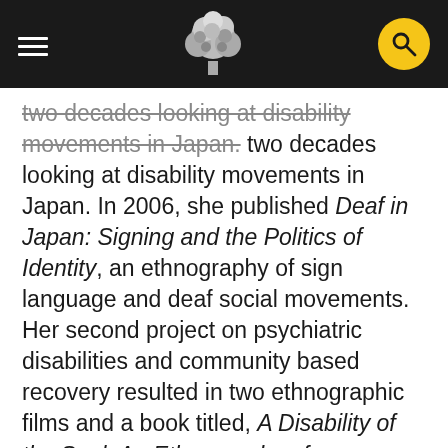Navigation header with hamburger menu, tree logo, and search button
two decades looking at disability movements in Japan. In 2006, she published Deaf in Japan: Signing and the Politics of Identity, an ethnography of sign language and deaf social movements. Her second project on psychiatric disabilities and community based recovery resulted in two ethnographic films and a book titled, A Disability of the Soul: An Ethnography of Schizophrenia and Mental Illness in Contemporary Japan (2014). Her books, films, and articles have resulted in numerous prizes including the John Whitney Hall Book Prize, the SVA Short